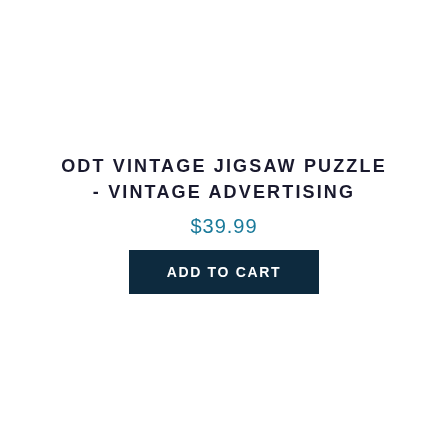ODT VINTAGE JIGSAW PUZZLE - VINTAGE ADVERTISING
$39.99
ADD TO CART